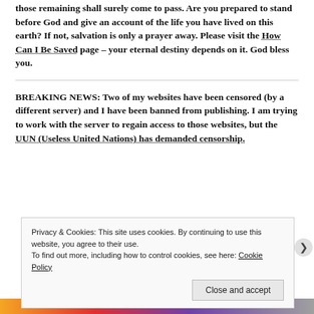those remaining shall surely come to pass. Are you prepared to stand before God and give an account of the life you have lived on this earth? If not, salvation is only a prayer away. Please visit the How Can I Be Saved page – your eternal destiny depends on it. God bless you.
BREAKING NEWS: Two of my websites have been censored (by a different server) and I have been banned from publishing. I am trying to work with the server to regain access to those websites, but the UUN (Useless United Nations) has demanded censorship.
Privacy & Cookies: This site uses cookies. By continuing to use this website, you agree to their use. To find out more, including how to control cookies, see here: Cookie Policy
Close and accept